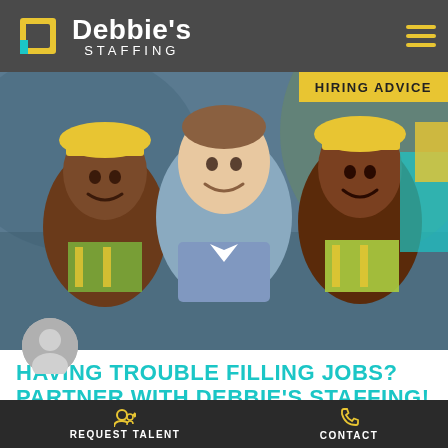Debbie's STAFFING
[Figure (photo): Three smiling men — two wearing yellow hard hats and high-visibility vests (construction workers), one in a blue dress shirt (professional) — posing together outdoors at a construction site.]
HIRING ADVICE
HAVING TROUBLE FILLING JOBS? PARTNER WITH DEBBIE'S STAFFING!
If your company has had a hard time finding candidates in the past few years, know you're not alone. The good news is, staffing companies,...
REQUEST TALENT    CONTACT